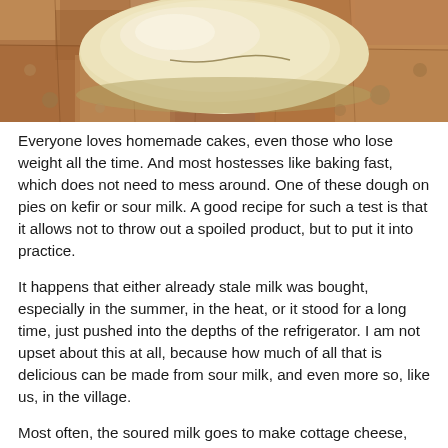[Figure (photo): Close-up photo of a ball of pale yellow dough resting on a granite or stone surface, with a crack visible in the dough.]
Everyone loves homemade cakes, even those who lose weight all the time. And most hostesses like baking fast, which does not need to mess around. One of these dough on pies on kefir or sour milk. A good recipe for such a test is that it allows not to throw out a spoiled product, but to put it into practice.
It happens that either already stale milk was bought, especially in the summer, in the heat, or it stood for a long time, just pushed into the depths of the refrigerator. I am not upset about this at all, because how much of all that is delicious can be made from sour milk, and even more so, like us, in the village.
Most often, the soured milk goes to make cottage cheese, but that is if there is a lot of milk. Not everyone has it in such quantities. Therefore, I propose several delicious and simple recipes for sour milk. Pies made from such dough can be fried and baked in the oven. So any pie is a good idea for the test.